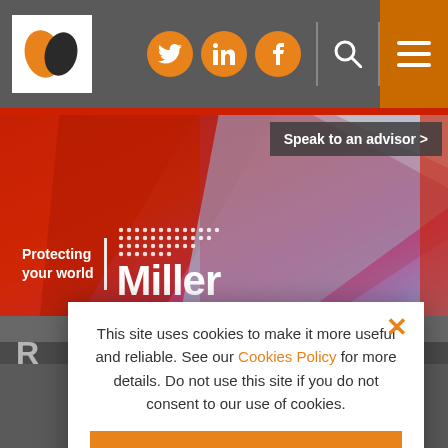[Figure (screenshot): Miller Insurance website screenshot showing navigation bar with logo, social media icons (Twitter, LinkedIn, Facebook), search icon, and hamburger menu button in orange]
[Figure (photo): Hero banner with red geometric shapes and 'Protecting your world | Miller' branding with dot pattern grid and 'Speak to an advisor >' button]
This site uses cookies to make it more useful and reliable. See our Cookies Policy for more details. Do not use this site if you do not consent to our use of cookies.
I CONSENT
SEE COOKIE POLICY